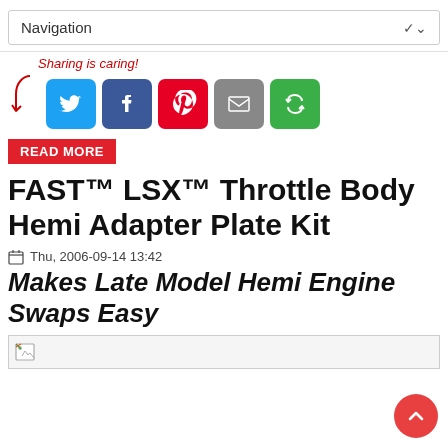Navigation
Sharing is caring!
[Figure (illustration): Social share buttons: Twitter (blue), Facebook (dark blue), Pinterest (red), Email (gray), Share/recycle (green)]
READ MORE
FAST™ LSX™ Throttle Body Hemi Adapter Plate Kit
Thu, 2006-09-14 13:42
Makes Late Model Hemi Engine Swaps Easy
[Figure (photo): Image placeholder (broken image icon)]